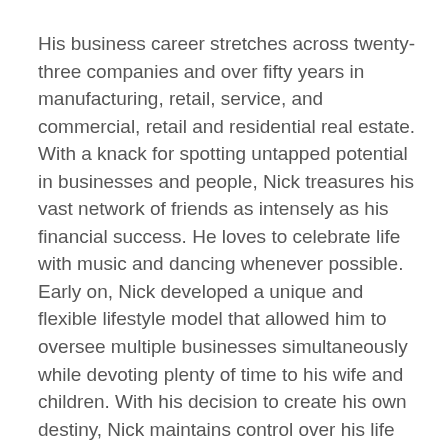His business career stretches across twenty-three companies and over fifty years in manufacturing, retail, service, and commercial, retail and residential real estate. With a knack for spotting untapped potential in businesses and people, Nick treasures his vast network of friends as intensely as his financial success. He loves to celebrate life with music and dancing whenever possible. Early on, Nick developed a unique and flexible lifestyle model that allowed him to oversee multiple businesses simultaneously while devoting plenty of time to his wife and children. With his decision to create his own destiny, Nick maintains control over his life and his future even under challenging circumstances, when most others followed tradition. His motto is “I make events. Events don’t make me.”
Nick Haritatos, an avid athlete, played and coached